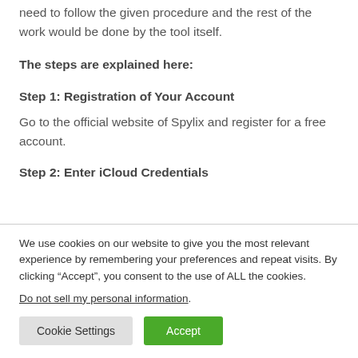need to follow the given procedure and the rest of the work would be done by the tool itself.
The steps are explained here:
Step 1: Registration of Your Account
Go to the official website of Spylix and register for a free account.
Step 2: Enter iCloud Credentials
We use cookies on our website to give you the most relevant experience by remembering your preferences and repeat visits. By clicking “Accept”, you consent to the use of ALL the cookies.
Do not sell my personal information.
Cookie Settings   Accept